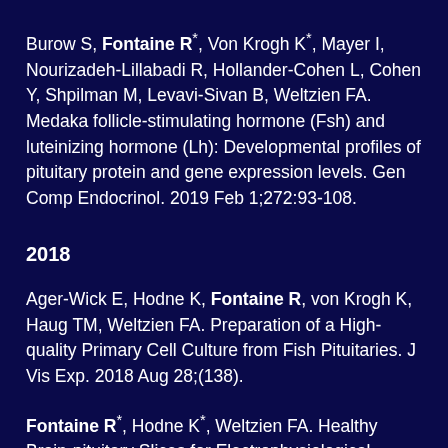Burow S, Fontaine R*, Von Krogh K*, Mayer I, Nourizadeh-Lillabadi R, Hollander-Cohen L, Cohen Y, Shpilman M, Levavi-Sivan B, Weltzien FA. Medaka follicle-stimulating hormone (Fsh) and luteinizing hormone (Lh): Developmental profiles of pituitary protein and gene expression levels. Gen Comp Endocrinol. 2019 Feb 1;272:93-108.
2018
Ager-Wick E, Hodne K, Fontaine R, von Krogh K, Haug TM, Weltzien FA. Preparation of a High-quality Primary Cell Culture from Fish Pituitaries. J Vis Exp. 2018 Aug 28;(138).
Fontaine R*, Hodne K*, Weltzien FA. Healthy Brain-pituitary Slices for Electrophysiological Investigations